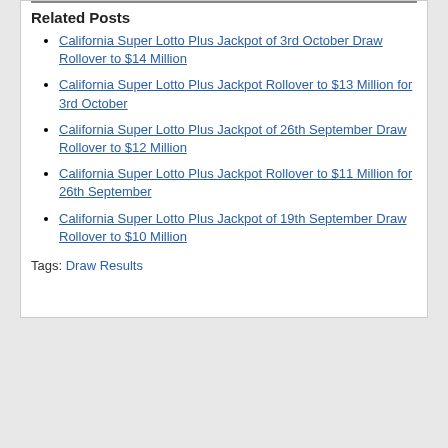Related Posts
California Super Lotto Plus Jackpot of 3rd October Draw Rollover to $14 Million
California Super Lotto Plus Jackpot Rollover to $13 Million for 3rd October
California Super Lotto Plus Jackpot of 26th September Draw Rollover to $12 Million
California Super Lotto Plus Jackpot Rollover to $11 Million for 26th September
California Super Lotto Plus Jackpot of 19th September Draw Rollover to $10 Million
Tags: Draw Results